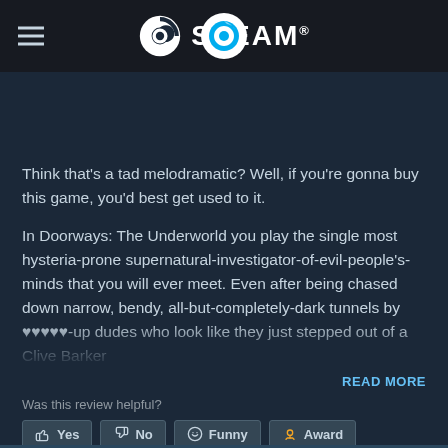STEAM®
Think that's a tad melodramatic? Well, if you're gonna buy this game, you'd best get used to it.

In Doorways: The Underworld you play the single most hysteria-prone supernatural-investigator-of-evil-people's-minds that you will ever meet. Even after being chased down narrow, bendy, all-but-completely-dark tunnels by ♥♥♥♥♥-up dudes who look like they just stepped out of a Clive Barker
READ MORE
Was this review helpful?
Yes  No  Funny  Award
9 people found this review helpful
4 people found this review funny